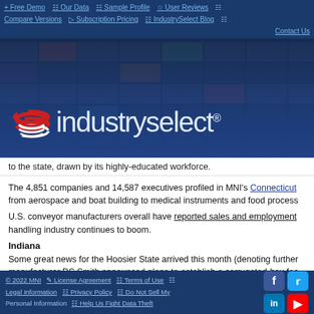+ Free Demo  Our Data  Sample Profile  User Reviews  Compare Versions  Subscription Pricing  IndustrySelect Blog  Contact Us
[Figure (logo): IndustrySelect logo with red and white circular icon and blue text on dark blue shipping container background]
to the state, drawn by its highly-educated workforce.
The 4,851 companies and 14,587 executives profiled in MNI's Connecticut from aerospace and boat building to medical instruments and food process
U.S. conveyor manufacturers overall have reported sales and employment handling industry continues to boom.
Indiana
Some great news for the Hoosier State arrived this month (denoting further manufacturer DS Smith announced plans to establish a corrugated-box fac
DS Smith is a London-based box manufacturer, with multiple location in the
The new plant will employ 170 workers engaged in production, engineering
© 2022 MNI  License Agreement  Terms of Use  Legal Information  Privacy Policy  Do Not Sell My Personal Information  Help Us Fight Data Theft